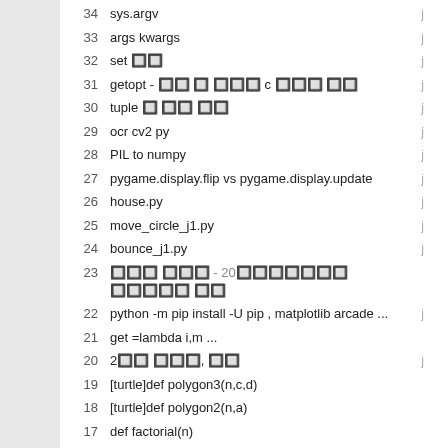34   sys.argv
33   args kwargs
32   set □□
31   getopt - □□ □ □□□ c □□□ □□
30   tuple □ □□ □□
29   ocr cv2 py
28   PIL to numpy
27   pygame.display.flip vs pygame.display.update
26   house.py
25   move_circle_j1.py
24   bounce_j1.py
23   □□□ □□□ - 20□□□□□□□ □□□□□ □□
22   python -m pip install -U pip , matplotlib arcade ...
21   get =lambda i,m ...
20   2□□ □□□, □□
19   [turtle]def polygon3(n,c,d)
18   [turtle]def polygon2(n,a)
17   def factorial(n)
16   def sum_func(n)